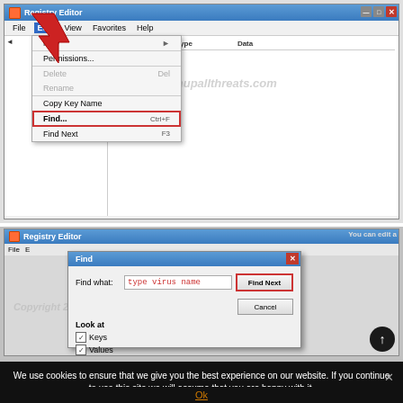[Figure (screenshot): Windows Registry Editor with Edit menu open, showing Find... option highlighted with a red box, and a large red arrow pointing to the Edit menu]
[Figure (screenshot): Windows Registry Editor with Find dialog open, showing 'type virus name' placeholder text in the Find what field, with Find Next button highlighted in red]
We use cookies to ensure that we give you the best experience on our website. If you continue to use this site we will assume that you are happy with it.
Ok